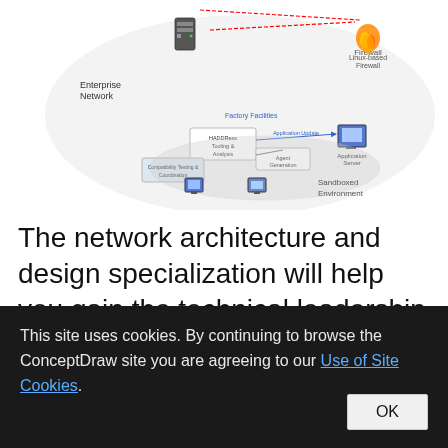[Figure (network-graph): Network architecture diagram showing an Enterprise Network with firewall, servers, sandboxed environment with HADDRess Testing & Analysis, Agent Generation, Compatibility Testing & Coordination components, connected to an Application Server via arrows.]
The network architecture and design specialization will help you gain the technical leadership skills you need to design and implement high-quality networks.
This site uses cookies. By continuing to browse the ConceptDraw site you are agreeing to our Use of Site Cookies.